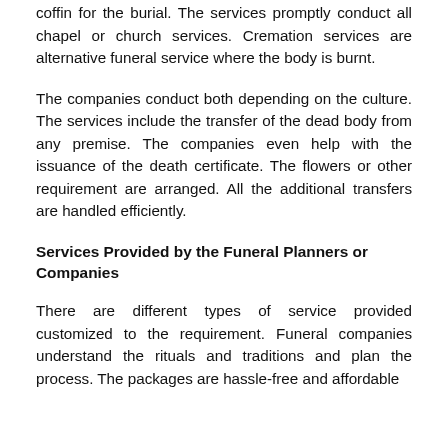coffin for the burial. The services promptly conduct all chapel or church services. Cremation services are alternative funeral service where the body is burnt.
The companies conduct both depending on the culture. The services include the transfer of the dead body from any premise. The companies even help with the issuance of the death certificate. The flowers or other requirement are arranged. All the additional transfers are handled efficiently.
Services Provided by the Funeral Planners or Companies
There are different types of service provided customized to the requirement. Funeral companies understand the rituals and traditions and plan the process. The packages are hassle-free and affordable